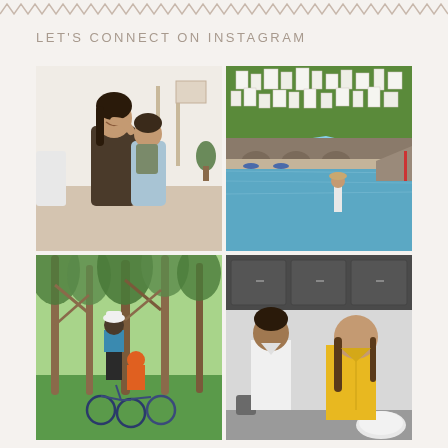zigzag decorative border
LET'S CONNECT ON INSTAGRAM
[Figure (photo): Woman smiling being kissed on the cheek by a young child with a backpack, indoors in a living room setting]
[Figure (photo): Coastal Italian town (Amalfi Coast) with white buildings on cliffs and a woman in a hat standing near the water]
[Figure (photo): Adult and two children with bicycles under trees in a park, child wearing orange helmet]
[Figure (photo): Man in white shirt and woman in yellow polo shirt standing in a kitchen, appearing to talk]